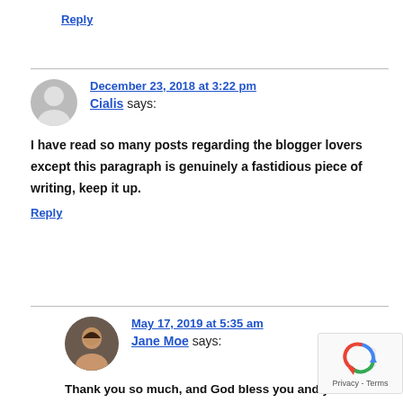Reply
December 23, 2018 at 3:22 pm
Cialis says:
I have read so many posts regarding the blogger lovers except this paragraph is genuinely a fastidious piece of writing, keep it up.
Reply
May 17, 2019 at 5:35 am
Jane Moe says:
Thank you so much, and God bless you and yours!!